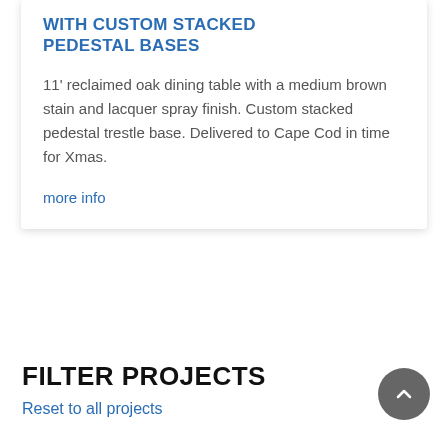WITH CUSTOM STACKED PEDESTAL BASES
11' reclaimed oak dining table with a medium brown stain and lacquer spray finish. Custom stacked pedestal trestle base. Delivered to Cape Cod in time for Xmas.
more info
FILTER PROJECTS
Reset to all projects